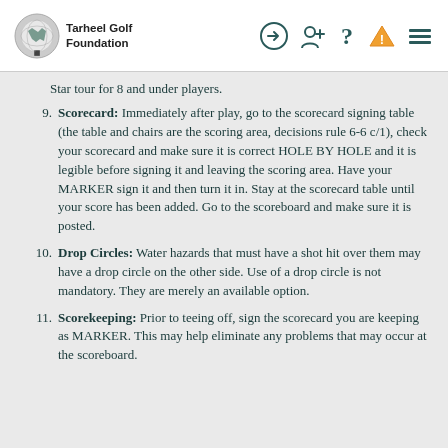Tarheel Golf Foundation [logo] [nav icons]
Star tour for 8 and under players.
9. Scorecard: Immediately after play, go to the scorecard signing table (the table and chairs are the scoring area, decisions rule 6-6 c/1), check your scorecard and make sure it is correct HOLE BY HOLE and it is legible before signing it and leaving the scoring area. Have your MARKER sign it and then turn it in. Stay at the scorecard table until your score has been added. Go to the scoreboard and make sure it is posted.
10. Drop Circles: Water hazards that must have a shot hit over them may have a drop circle on the other side. Use of a drop circle is not mandatory. They are merely an available option.
11. Scorekeeping: Prior to teeing off, sign the scorecard you are keeping as MARKER. This may help eliminate any problems that may occur at the scoreboard.